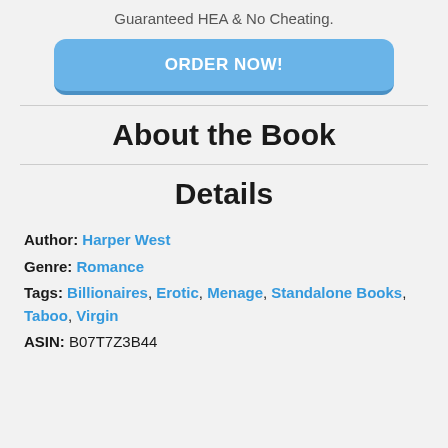Guaranteed HEA & No Cheating.
[Figure (other): Blue rounded button with text ORDER NOW!]
About the Book
Details
Author: Harper West
Genre: Romance
Tags: Billionaires, Erotic, Menage, Standalone Books, Taboo, Virgin
ASIN: B07T7Z3B44